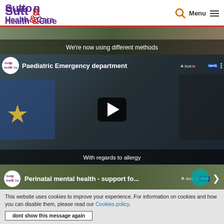Sutton Health & Care | Menu
[Figure (screenshot): Top partial video strip showing text 'We're now using different methods' on a dark overlay]
[Figure (screenshot): Video thumbnail for 'Paediatric Emergency department' with a doctor wearing a stethoscope, play button visible, caption 'With regards to allergy']
[Figure (screenshot): Bottom partial video strip showing 'Perinatal mental health - support fo...' title with Sutton Health & Care logo]
This website uses cookies to improve your experience. For information on cookies and how you can disable them, please read our Cookies policy.
dont show this message again